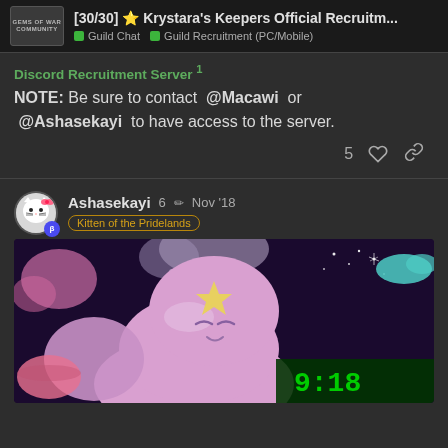[30/30] 🌟 Krystara's Keepers Official Recruitm... | Guild Chat | Guild Recruitment (PC/Mobile)
Discord Recruitment Server 1
NOTE: Be sure to contact @Macawi or @Ashasekayi to have access to the server.
5 ♡ 🔗
Ashasekayi 6 ✏ Nov '18 Kitten of the Pridelands
[Figure (screenshot): Screenshot of a purple cartoon cloud-like character with a yellow star, set in a space/fantasy background with pink and purple cloud shapes. A video timestamp overlay showing 9:18 is visible in the bottom right corner.]